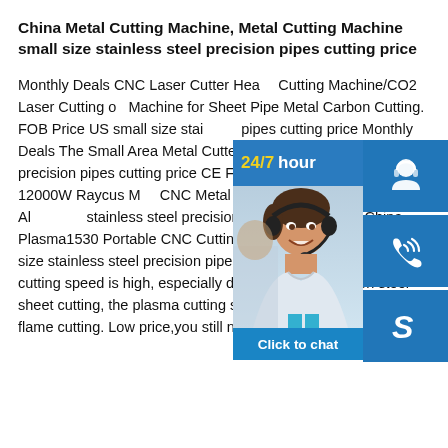China Metal Cutting Machine, Metal Cutting Machine small size stainless steel precision pipes cutting price
Monthly Deals CNC Laser Cutter Heavy Duty Laser Cutting Machine/CO2 Laser Cutting on Machine for Sheet Pipe Metal Carbon Cutting. FOB Price US small size stainless pipes cutting price Monthly Deals The Small Area Metal Cutter small size stainless steel precision pipes cutting price CE FDA 1 2000W/3000W Till 12000W Raycus M CNC Metal Stainless Steel Carbon Aluminum stainless steel precision pipes cutting price China Plasma1530 Portable CNC Cutting Plasma and Flame small size stainless steel precision pipes cutting priceThe plasma cutting speed is high, especially during common carbon steel sheet cutting, the plasma cutting speed is 5-6 times that of flame cutting. Low price,you still need to
[Figure (screenshot): Customer service chat widget showing a 24/7 hour badge with a photo of a smiling woman with a headset, alongside blue icon buttons for headset/support, phone call, and Skype/chat, with a 'Click to chat' button at the bottom.]